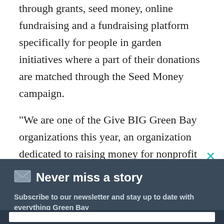through grants, seed money, online fundraising and a fundraising platform specifically for people in garden initiatives where a part of their donations are matched through the Seed Money campaign.
“We are one of the Give BIG Green Bay organizations this year, an organization dedicated to raising money for nonprofit organizations in the community,” Woodke said.
[Figure (other): Green horizontal rule divider line]
× (close button)
📧 Never miss a story
Subscribe to our newsletter and stay up to date with everything Green Bay